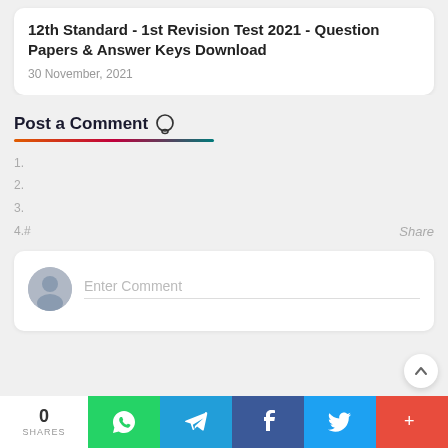12th Standard - 1st Revision Test 2021 - Question Papers & Answer Keys Download
30 November, 2021
Post a Comment
1.
2.
3.
4.#  Share
Enter Comment
0 SHARES